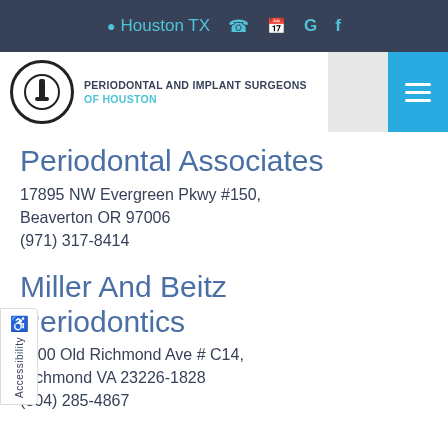Houston TX
[Figure (logo): Periodontal and Implant Surgeons of Houston logo with circular icon and text]
Periodontal Associates
17895 NW Evergreen Pkwy #150, Beaverton OR 97006
(971) 317-8414
Miller And Beitz Periodontics
5700 Old Richmond Ave # C14, Richmond VA 23226-1828
(804) 285-4867